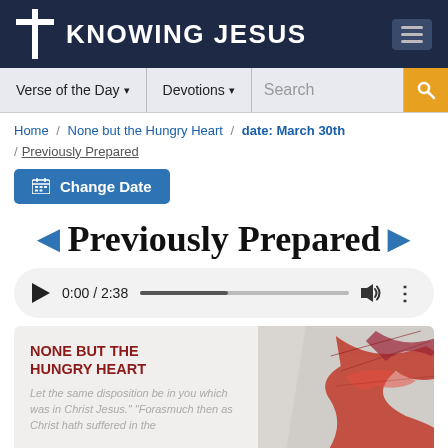KNOWING JESUS
Verse of the Day ▾   Devotions ▾   Search
Home / None but the Hungry Heart / date: March 30th / Previously Prepared
Change Date
Previously Prepared
[Figure (screenshot): Audio player showing 0:00 / 2:38 with progress bar, volume and more icons]
[Figure (illustration): None But The Hungry Heart devotional banner with red paint splash and italic verse text: 'Let the same disposition be in you which was in Christ Jesus.' 'Forasmuch then as Christ hath suffered in the...']